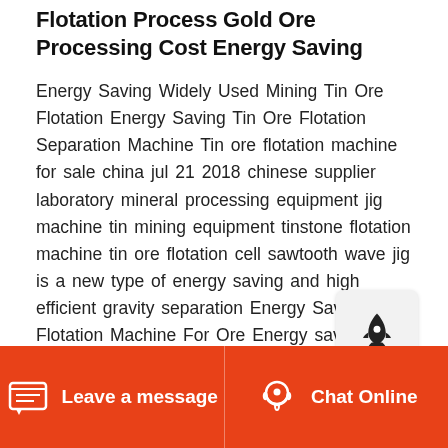Flotation Process Gold Ore Processing Cost Energy Saving
Energy Saving Widely Used Mining Tin Ore Flotation Energy Saving Tin Ore Flotation Separation Machine Tin ore flotation machine for sale china jul 21 2018 chinese supplier laboratory mineral processing equipment jig machine tin mining equipment tinstone flotation machine tin ore flotation cell sawtooth wave jig is a new type of energy saving and high efficient gravity separation Energy Saving Flotation Machine For Ore Energy saving widely used mining ore flotation machineEnergy saving widely used mining flotation process machine energy saving widely used mining flotation process machine
Leave a message | Chat Online